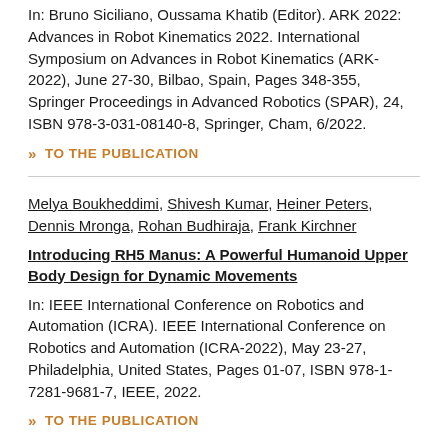In: Bruno Siciliano, Oussama Khatib (Editor). ARK 2022: Advances in Robot Kinematics 2022. International Symposium on Advances in Robot Kinematics (ARK-2022), June 27-30, Bilbao, Spain, Pages 348-355, Springer Proceedings in Advanced Robotics (SPAR), 24, ISBN 978-3-031-08140-8, Springer, Cham, 6/2022.
» TO THE PUBLICATION
Melya Boukheddimi, Shivesh Kumar, Heiner Peters, Dennis Mronga, Rohan Budhiraja, Frank Kirchner
Introducing RH5 Manus: A Powerful Humanoid Upper Body Design for Dynamic Movements
In: IEEE International Conference on Robotics and Automation (ICRA). IEEE International Conference on Robotics and Automation (ICRA-2022), May 23-27, Philadelphia, United States, Pages 01-07, ISBN 978-1-7281-9681-7, IEEE, 2022.
» TO THE PUBLICATION